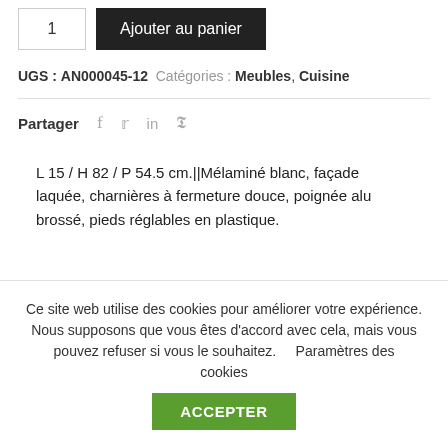[Figure (screenshot): Quantity input box showing '1' and a black 'Ajouter au panier' button]
UGS : AN000045-12  Catégories : Meubles, Cuisine
Partager  f  in  p
L 15 / H 82 / P 54.5 cm.||Mélaminé blanc, façade laquée, charnières à fermeture douce, poignée alu brossé, pieds réglables en plastique.
Ce site web utilise des cookies pour améliorer votre expérience. Nous supposons que vous êtes d'accord avec cela, mais vous pouvez refuser si vous le souhaitez.    Paramètres des cookies      ACCEPTER